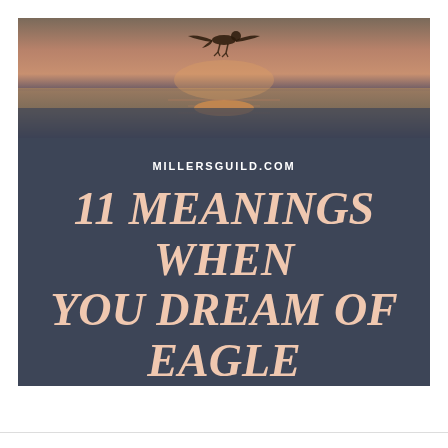[Figure (photo): Eagle or bird near water at sunset/dusk, warm orange and grey tones, reflection visible on water surface]
MILLERSGUILD.COM
11 MEANINGS WHEN YOU DREAM OF EAGLE
Helping You Find What Does It Mean When You See or Dream Something